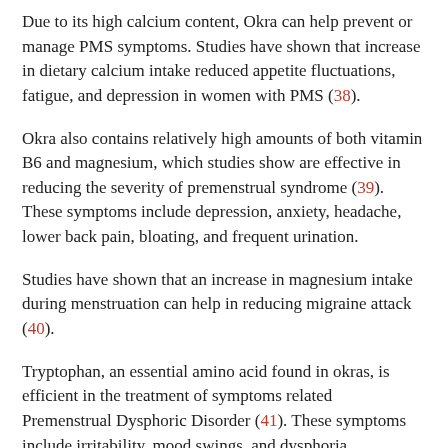Due to its high calcium content, Okra can help prevent or manage PMS symptoms. Studies have shown that increase in dietary calcium intake reduced appetite fluctuations, fatigue, and depression in women with PMS (38).
Okra also contains relatively high amounts of both vitamin B6 and magnesium, which studies show are effective in reducing the severity of premenstrual syndrome (39). These symptoms include depression, anxiety, headache, lower back pain, bloating, and frequent urination.
Studies have shown that an increase in magnesium intake during menstruation can help in reducing migraine attack (40).
Tryptophan, an essential amino acid found in okras, is efficient in the treatment of symptoms related Premenstrual Dysphoric Disorder (41). These symptoms include irritability, mood swings, and dysphoria.
Okras are also fairly rich in manganese, and early research